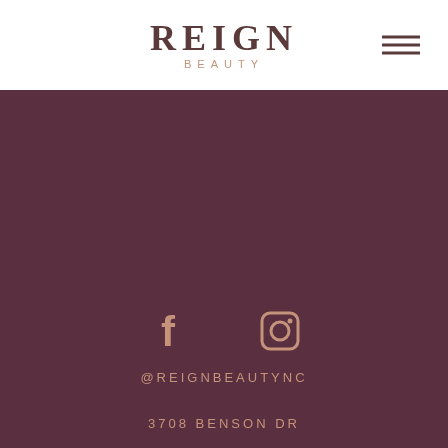REIGN BEAUTY
[Figure (logo): Reign Beauty logo with REIGN in large serif font and BEAUTY in small spaced caps below]
[Figure (infographic): Facebook and Instagram social media icons rendered in light pinkish-white color on dark mauve background]
@REIGNBEAUTYNC
3708 BENSON DR